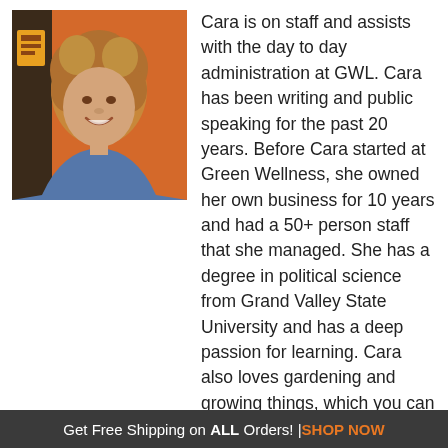[Figure (photo): Headshot of a woman with curly blonde-brown hair, smiling, wearing a blue top, with an orange wall in the background]
Cara is on staff and assists with the day to day administration at GWL. Cara has been writing and public speaking for the past 20 years. Before Cara started at Green Wellness, she owned her own business for 10 years and had a 50+ person staff that she managed. She has a degree in political science from Grand Valley State University and has a deep passion for learning. Cara also loves gardening and growing things, which you can see when you enter the store.
Cara is also passionate about animals and  has rescued both cats and dogs. Cara has had the privilege of watching many people experience the benefits of hemp based products and she is passionate about sharing her knowledge of hemp and CBD any chance she gets. All of her pets are the resident taste testers when it comes
Get Free Shipping on ALL Orders! | SHOP NOW